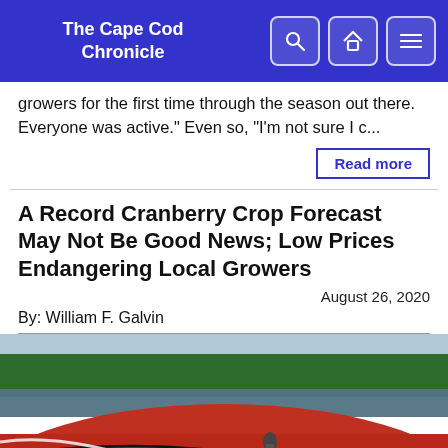The Cape Cod Chronicle
growers for the first time through the season out there. Everyone was active." Even so, "I'm not sure I c...
Read more
A Record Cranberry Crop Forecast May Not Be Good News; Low Prices Endangering Local Growers
August 26, 2020
By: William F. Galvin
[Figure (photo): Two workers in a flooded cranberry bog, surrounded by a vast carpet of red cranberries, with trees and water in the background.]